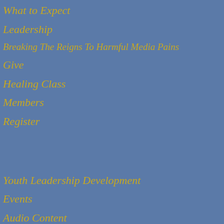What to Expect
Leadership
Breaking The Reigns To Harmful Media Pains
Give
Healing Class
Members
Register
Youth Leadership Development
Events
Audio Content